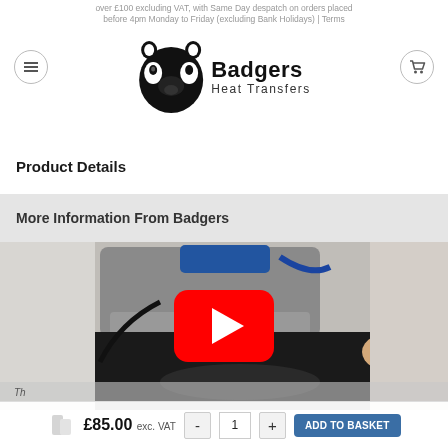over £100 excluding VAT, with Same Day despatch on orders placed before 4pm Monday to Friday (excluding Bank Holidays) | Terms
[Figure (logo): Badgers Heat Transfers logo with badger illustration and text]
Product Details
More Information From Badgers
[Figure (screenshot): Video thumbnail showing a heat press machine being used on a black garment, with a YouTube play button overlay]
£85.00 exc. VAT
- 1 + ADD TO BASKET